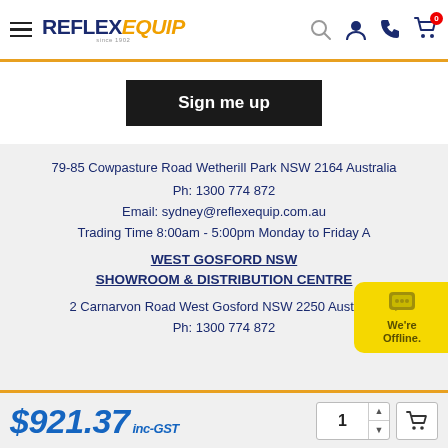Reflex Equip - Sign me up
79-85 Cowpasture Road Wetherill Park NSW 2164 Australia
Ph: 1300 774 872
Email: sydney@reflexequip.com.au
Trading Time 8:00am - 5:00pm Monday to Friday A...
WEST GOSFORD NSW SHOWROOM & DISTRIBUTION CENTRE
2 Carnarvon Road West Gosford NSW 2250 Australia
Ph: 1300 774 872
$921.37 inc-GST